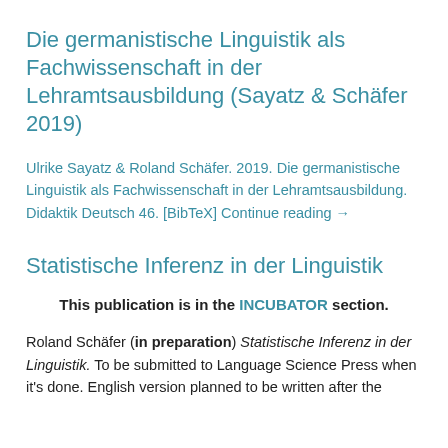Die germanistische Linguistik als Fachwissenschaft in der Lehramtsausbildung (Sayatz & Schäfer 2019)
Ulrike Sayatz & Roland Schäfer. 2019. Die germanistische Linguistik als Fachwissenschaft in der Lehramtsausbildung. Didaktik Deutsch 46. [BibTeX] Continue reading →
Statistische Inferenz in der Linguistik
This publication is in the INCUBATOR section.
Roland Schäfer (in preparation) Statistische Inferenz in der Linguistik. To be submitted to Language Science Press when it's done. English version planned to be written after the